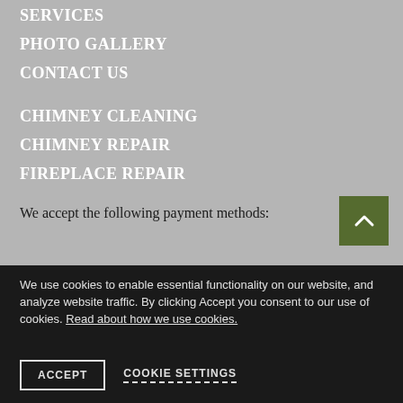SERVICES
PHOTO GALLERY
CONTACT US
CHIMNEY CLEANING
CHIMNEY REPAIR
FIREPLACE REPAIR
We accept the following payment methods:
[Figure (other): Scroll to top button with upward chevron arrow on dark olive/green background]
We use cookies to enable essential functionality on our website, and analyze website traffic. By clicking Accept you consent to our use of cookies. Read about how we use cookies.
ACCEPT
COOKIE SETTINGS